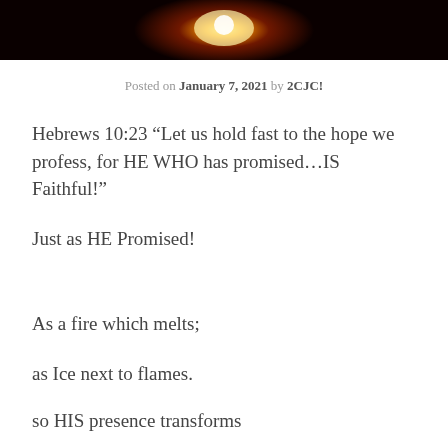[Figure (photo): Dark header image with a bright yellow-orange light/fire glow in the center against a dark red/black background]
Posted on January 7, 2021 by 2CJC!
Hebrews 10:23 “Let us hold fast to the hope we profess, for HE WHO has promised…IS Faithful!”
Just as HE Promised!
As a fire which melts;
as Ice next to flames.
so HIS presence transforms